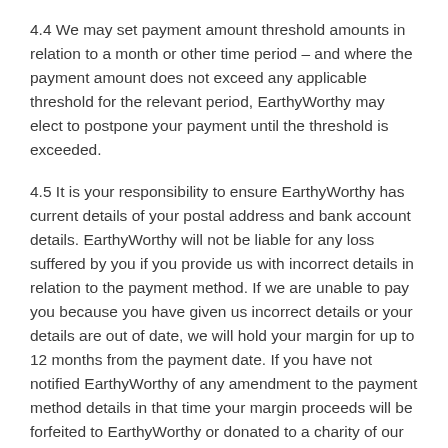4.4 We may set payment amount threshold amounts in relation to a month or other time period – and where the payment amount does not exceed any applicable threshold for the relevant period, EarthyWorthy may elect to postpone your payment until the threshold is exceeded.
4.5 It is your responsibility to ensure EarthyWorthy has current details of your postal address and bank account details. EarthyWorthy will not be liable for any loss suffered by you if you provide us with incorrect details in relation to the payment method. If we are unable to pay you because you have given us incorrect details or your details are out of date, we will hold your margin for up to 12 months from the payment date. If you have not notified EarthyWorthy of any amendment to the payment method details in that time your margin proceeds will be forfeited to EarthyWorthy or donated to a charity of our choice.
5. Taxation responsibility